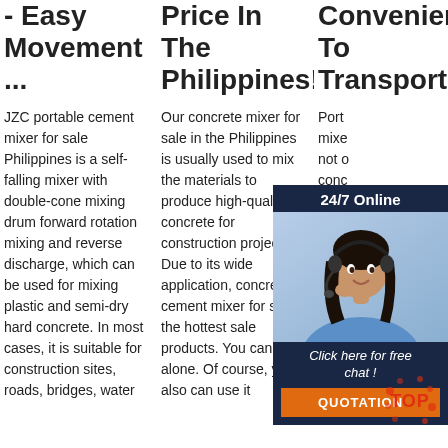- Easy Movement ...
JZC portable cement mixer for sale Philippines is a self-falling mixer with double-cone mixing drum forward rotation mixing and reverse discharge, which can be used for mixing plastic and semi-dry hard concrete. In most cases, it is suitable for construction sites, roads, bridges, water
Price In The Philippines!
Our concrete mixer for sale in the Philippines is usually used to mix the materials to produce high-quality concrete for construction projects. Due to its wide application, concrete cement mixer for sale is the hottest sale products. You can use it alone. Of course, you also can use it along with the
Convenient To Transport
Portable cement mixer not only the concrete, but the concrete is more pump. In addition cement pump has two different drive modes for your selection diesel engine mode and electric engine
[Figure (photo): Customer service representative (woman with headset) with 24/7 Online chat widget overlay showing 'Click here for free chat!' and QUOTATION button]